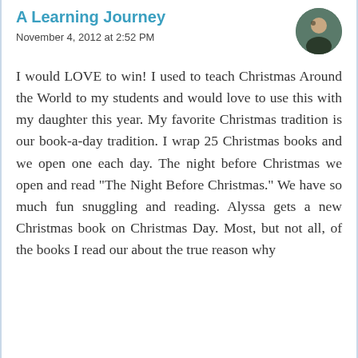A Learning Journey
November 4, 2012 at 2:52 PM
I would LOVE to win! I used to teach Christmas Around the World to my students and would love to use this with my daughter this year. My favorite Christmas tradition is our book-a-day tradition. I wrap 25 Christmas books and we open one each day. The night before Christmas we open and read "The Night Before Christmas." We have so much fun snuggling and reading. Alyssa gets a new Christmas book on Christmas Day. Most, but not all, of the books I read our about the true reason why